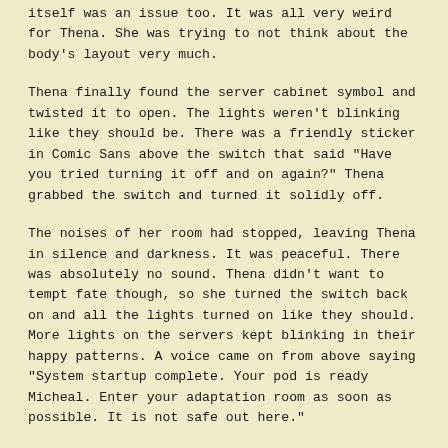itself was an issue too. It was all very weird for Thena. She was trying to not think about the body's layout very much.
Thena finally found the server cabinet symbol and twisted it to open. The lights weren't blinking like they should be. There was a friendly sticker in Comic Sans above the switch that said "Have you tried turning it off and on again?" Thena grabbed the switch and turned it solidly off.
The noises of her room had stopped, leaving Thena in silence and darkness. It was peaceful. There was absolutely no sound. Thena didn't want to tempt fate though, so she turned the switch back on and all the lights turned on like they should. More lights on the servers kept blinking in their happy patterns. A voice came on from above saying "System startup complete. Your pod is ready Micheal. Enter your adaptation room as soon as possible. It is not safe out here."